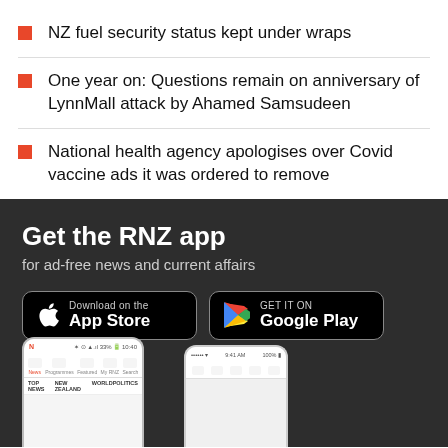NZ fuel security status kept under wraps
One year on: Questions remain on anniversary of LynnMall attack by Ahamed Samsudeen
National health agency apologises over Covid vaccine ads it was ordered to remove
[Figure (infographic): RNZ app advertisement banner on dark background showing 'Get the RNZ app for ad-free news and current affairs' with App Store and Google Play download buttons, and smartphone screenshots showing the RNZ app interface]